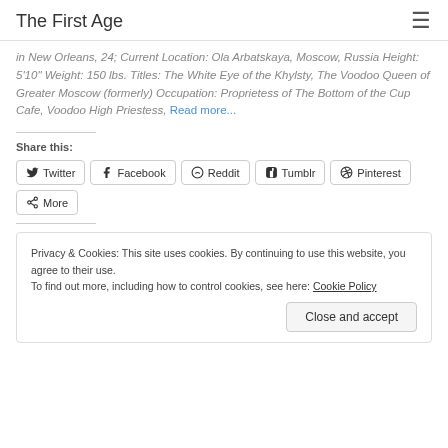The First Age
in New Orleans, 24; Current Location: Ola Arbatskaya, Moscow, Russia Height: 5'10" Weight: 150 lbs. Titles: The White Eye of the Khylsty, The Voodoo Queen of Greater Moscow (formerly) Occupation: Proprietess of The Bottom of the Cup Cafe, Voodoo High Priestess, Read more...
Share this:
Twitter
Facebook
Reddit
Tumblr
Pinterest
More
Privacy & Cookies: This site uses cookies. By continuing to use this website, you agree to their use. To find out more, including how to control cookies, see here: Cookie Policy
Close and accept